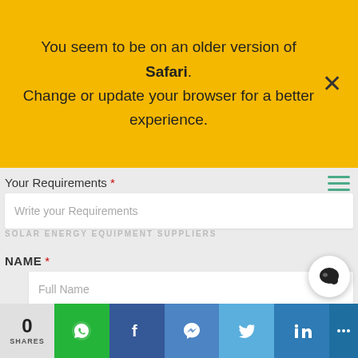You seem to be on an older version of Safari. Change or update your browser for a better experience.
HOME SERVICES → IMPORTANT NUMBERS →
SOLAR ENERGY EQUIPMENT SUPPLIERS
Your Requirements *
Write your Requirements
NAME *
Full Name
Email *
Enter your email Id here
0 SHARES